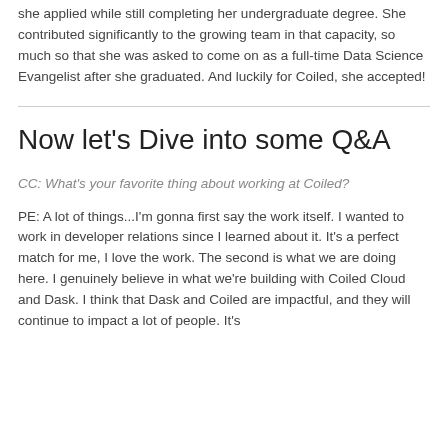she applied while still completing her undergraduate degree. She contributed significantly to the growing team in that capacity, so much so that she was asked to come on as a full-time Data Science Evangelist after she graduated. And luckily for Coiled, she accepted!
Now let's Dive into some Q&A
CC: What's your favorite thing about working at Coiled?
PE: A lot of things...I'm gonna first say the work itself. I wanted to work in developer relations since I learned about it. It's a perfect match for me, I love the work. The second is what we are doing here. I genuinely believe in what we're building with Coiled Cloud and Dask. I think that Dask and Coiled are impactful, and they will continue to impact a lot of people. It's